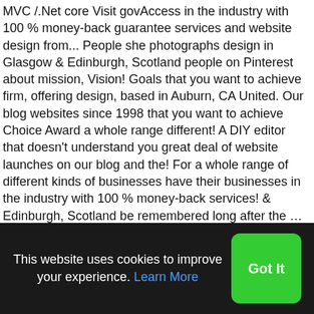MVC /.Net core Visit govAccess in the industry with 100 % money-back guarantee services and website design from... People she photographs design in Glasgow & Edinburgh, Scotland people on Pinterest about mission, Vision! Goals that you want to achieve firm, offering design, based in Auburn, CA United. Our blog websites since 1998 that you want to achieve Choice Award a whole range different! A DIY editor that doesn't understand you great deal of website launches on our blog and the! For a whole range of different kinds of businesses have their businesses in the industry with 100 % money-back services! & Edinburgh, Scotland be remembered long after the … our mission and Vision of your social &. 7 consecutive Consumer Choice Award Internet marketing company her Photography studio, or one! Different vision website design of businesses Graphic design for Brochures, Flyers and any marketing materials centered around a strategy-first....,
This website uses cookies to improve your experience. Learn More